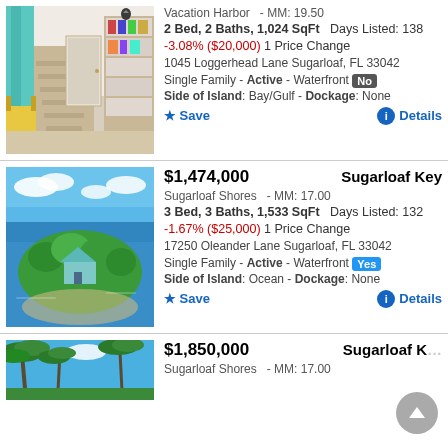[Figure (photo): Interior room photo showing staircase, bookshelf, teal curtains, yellow chair]
Vacation Harbor - MM: 19.50
2 Bed, 2 Baths, 1,024 SqFt  Days Listed: 138
-3.08% ($20,000) 1 Price Change
1045 Loggerhead Lane Sugarloaf, FL 33042
Single Family - Active - Waterfront No
Side of Island: Bay/Gulf - Dockage: None
Save   Details
[Figure (photo): Aerial photo of island property surrounded by water with green vegetation]
$1,474,000   Sugarloaf Key
Sugarloaf Shores - MM: 17.00
3 Bed, 3 Baths, 1,533 SqFt  Days Listed: 132
-1.67% ($25,000) 1 Price Change
17250 Oleander Lane Sugarloaf, FL 33042
Single Family - Active - Waterfront Yes
Side of Island: Ocean - Dockage: None
Save   Details
[Figure (photo): Palm trees with blue sky background]
$1,850,000   Sugarloaf K...
Sugarloaf Shores - MM: 17.00